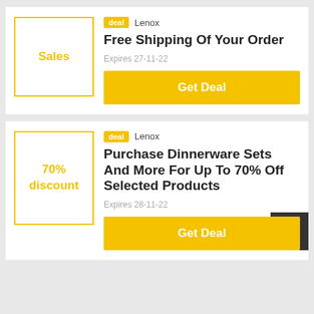[Figure (other): Deal card 1: Sales thumbnail box with yellow border]
deal  Lenox
Free Shipping Of Your Order
Expires 27-11-22
Get Deal
[Figure (other): Deal card 2: 70% discount thumbnail box with yellow border]
deal  Lenox
Purchase Dinnerware Sets And More For Up To 70% Off Selected Products
Expires 28-11-22
Get Deal